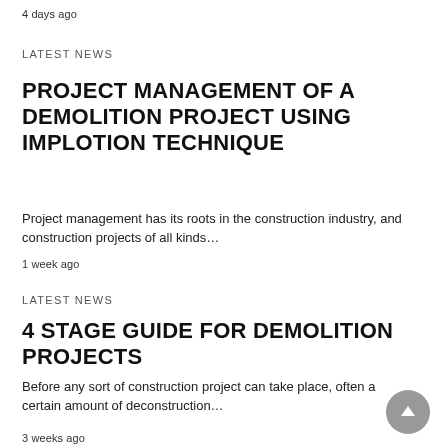4 days ago
Latest News
PROJECT MANAGEMENT OF A DEMOLITION PROJECT USING IMPLOTION TECHNIQUE
Project management has its roots in the construction industry, and construction projects of all kinds…
1 week ago
Latest News
4 STAGE GUIDE FOR DEMOLITION PROJECTS
Before any sort of construction project can take place, often a certain amount of deconstruction…
3 weeks ago